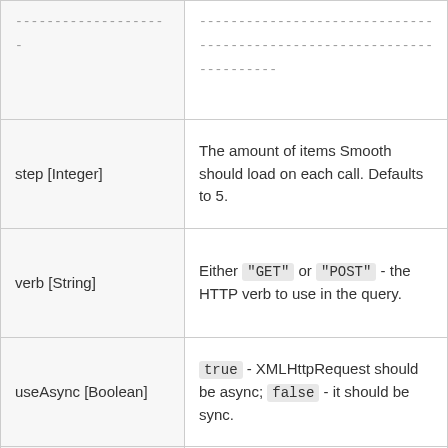| Parameter | Description |
| --- | --- |
| -------------------- | ------------------------------
------------------------------
---------- |
| step [Integer] | The amount of items Smooth should load on each call. Defaults to 5. |
| verb [String] | Either "GET" or "POST" - the HTTP verb to use in the query. |
| useAsync [Boolean] | true - XMLHttpRequest should be async; false - it should be sync. |
| urlParams [String] | Parameters to place into the URL. This shouldn't include the preceding ?. These will act as POST |